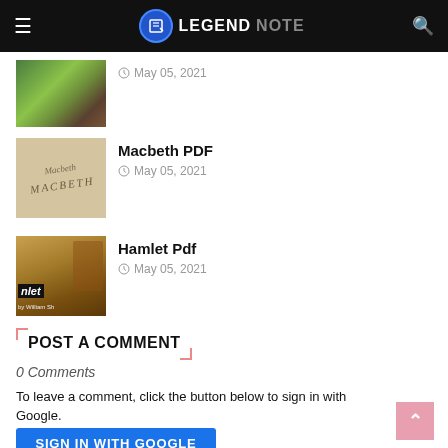LEGEND NOTE
[Figure (photo): Partial thumbnail of a green/nature themed book cover]
May 05, 2021
[Figure (photo): Macbeth book cover - beige/tan with handwritten style text]
Macbeth PDF
May 05, 2021
[Figure (photo): Hamlet book cover - dark background with figure and Hamlet title text]
Hamlet Pdf
May 05, 2021
POST A COMMENT
0 Comments
To leave a comment, click the button below to sign in with Google.
SIGN IN WITH GOOGLE